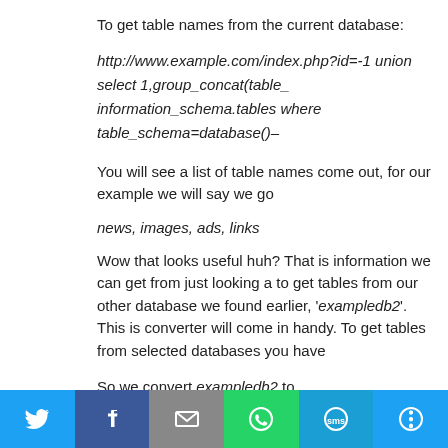To get table names from the current database:
http://www.example.com/index.php?id=-1 union select 1,group_concat(table_name) from information_schema.tables where table_schema=database()–
You will see a list of table names come out, for our example we will say we go
news, images, ads, links
Wow that looks useful huh? That is information we can get from just looking a to get tables from our other database we found earlier, 'exampledb2'. This is converter will come in handy. To get tables from selected databases you have
So we convert exampledb2 to 6578616d706c65646232. Always remember to hexed name to tell the database that it is hex encoded and it need to decode our database name ends up being 0x6578616d706c65646232.
Online text-to-hex converters:
Social share buttons: Twitter, Facebook, Email, WhatsApp, SMS, More